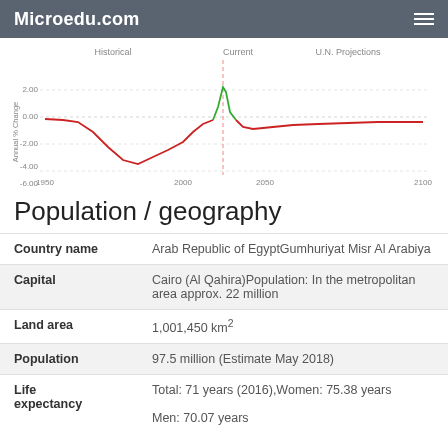Microedu.com
[Figure (line-chart): Line chart showing annual % change from 1950 to 2100, with historical (red line dipping to ~-4 around 1970s and a green spike ~3 around 2010), current marker, and U.N. Projections (red line stabilizing near 0 after 2030).]
Population / geography
| Field | Value |
| --- | --- |
| Country name | Arab Republic of EgyptGumhuriyat Misr Al Arabiya |
| Capital | Cairo (Al Qahira)Population: In the metropolitan area approx. 22 million |
| Land area | 1,001,450 km² |
| Population | 97.5 million (Estimate May 2018) |
| Life expectancy | Total: 71 years (2016),Women: 75.38 years
Men: 70.07 years |